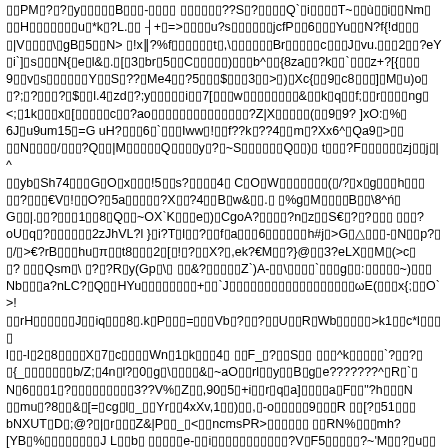▯▯PM▯?▯?▯y▯▯▯▯▯B▯▯▯-▯▯▯▯ ▯▯▯▯▯▯??S▯?▯▯▯▯Q`▯i▯▯▯▯T~▯▯ù▯▯i▯▯Nm▯ ▯▯H▯▯▯▯▯▯▯u▯*k▯?L.▯▯ ┤+▯=>▯▯▯▯u?s▯▯▯▯▯▯jcfP▯▯6▯▯▯Yu▯▯N?f{!d▯▯▯ ▯|V▯▯▯▯\▯gB▯5▯▯N> ▯!x‖?%f▯▯▯▯▯▯t▯,\▯▯▯▯▯▯Br▯▯▯▯▯c▯▯▯J▯vu.▯▯▯2▯▯?eY ▯i`]▯s▯▯▯N{▯e▯l&▯.▯[▯3▯br▯5▯▯C▯▯▯▯▯)▯▯▯b^▯▯{8za▯▯?k▯▯`▯▯▯z+?[{▯▯▯ 9▯▯v▯s▯▯▯▯▯▯Y▯▯S▯??▯Me4▯▯?5▯▯▯$▯▯▯3▯▯>▯)▯Xc{▯▯9▯c8▯▯▯]▯M▯u)o▯ ▯?;▯?▯▯▯?▯$▯▯l.4▯zd▯?;y▯▯▯▯▯i▯▯7[▯▯▯w▯▯▯▯▯▯▯▯&▯▯k▯q▯▯f;▯▯r▯▯▯▯ng▯ <;▯1k▯▯▯x▯[▯▯▯▯▯c▯▯?ao▯▯▯▯▯▯▯▯▯▯▯▯▯▯?Z|X▯▯▯▯▯(▯▯9▯9? ]xO:▯%▯ 6J▯u9um15▯=G uH?▯▯▯6▯`▯▯▯Iww▯!▯▯f??k▯??4▯▯m▯?Xx6^▯Qa9▯>▯▯ ▯▯N▯▯▯▯/▯▯▯?Q▯▯|M▯▯▯▯▯Q▯▯▯▯y▯?▯~S▯▯▯▯▯▯Q▯▯)▯ t▯▯▯?F▯▯▯▯▯▯zj▯▯j▯|^ ▯▯yb▯Sh74▯▯▯G▯O▯x▯▯▯!5▯▯s?▯▯▯▯4▯ C▯O▯W▯▯▯▯▯▯▯(▯/?▯x▯g▯▯▯h▯▯▯ ▯▯?▯▯▯€V▯!▯▯O?▯5a▯▯▯▯▯?X▯▯?4▯▯B▯w&▯▯.▯ ▯%g▯M▯▯▯▯B▯▯\8^ń▯ G▯▯|.▯▯?▯▯▯1▯▯8▯Q▯▯~OX`K▯▯▯e▯)▯CgoA?▯▯▯▯?n▯z▯▯S€▯?▯?▯▯▯ ▯▯▯? oU▯q▯?▯▯▯▯▯▯2zJhVL?l }▯i?T▯l▯▯?▯▯f▯a▯▯▯6▯▯▯▯▯▯h#j▯>G▯△▯▯▯-▯N▯▯p?▯ ▯/▯>€?rB▯▯▯hu▯π▯▯t8▯▯▯2▯[▯!▯?▯▯X?▯,ek?€M▯▯?}@▯▯3?eLX▯▯M▯(▯>c▯ ▯? ▯▯▯Qsm▯\ ▯?▯?R▯y(Gp▯\▯ ▯▯&?▯▯▯▯▯Z`)A-▯▯\▯▯▯▯`▯▯▯g▯▯:▯▯▯▯▯~)▯▯▯ Nb▯▯▯a?nLC?▯Q▯▯HYu▯▯▯▯▯▯▯▯+▯▯`J▯▯▯▯▯▯▯▯▯▯▯▯▯▯▯▯▯▯ωE(▯▯▯x{;▯▯O`>! ▯▯rH▯▯▯▯▯▯J▯▯iq▯▯▯8▯.k▯P▯▯▯=▯▯▯Vb▯?▯▯?▯▯U▯▯R▯Wb▯▯▯▯▯>k1▯▯c*l▯▯▯▯ l▯▯-l▯2▯8▯▯▯▯X▯7▯c▯▯▯▯Wn▯1▯k▯▯▯4▯ ▯▯F_▯?▯▯S▯▯ ▯▯▯^k▯▯▯▯▯`?▯▯?▯ ▯{_▯▯▯▯▯▯▯b/Z;▯4n▯l?▯0▯g▯\▯▯▯▯&▯~aO▯▯rl▯▯y▯▯B▯g▯e???????^▯R▯`▯ N▯6▯▯▯1▯?▯▯▯▯▯▯▯▯▯3??V%▯Z▯▯,90▯5▯+i▯▯r▯q▯a]▯▯▯▯a▯F▯▯"?h▯▯▯N ▯▯mu▯?8▯▯&▯[=▯cg▯l▯_▯▯Yr▯▯4xXv,1▯▯)▯▯,▯-o▯▯▯▯▯9▯▯▯R ▯▯[?▯51▯▯▯ bNXUT▯D▯;@?▯|▯r▯▯▯Z&|P▯▯_▯<▯▯ncmsPR>▯▯▯▯▯▯ ▯▯RN%▯▯▯mh? [YB▯%▯▯▯▯▯▯▯▯J L▯▯b▯ ▯▯▯▯▯e-▯▯i▯▯▯▯▯▯▯▯▯▯▯?V▯F5▯▯▯▯▯?~'M▯▯?▯u▯▯▯▯m▯ ▯?▯&▯0W|{lF▯▯▯▯R;"▯▯▯▯▯▯▯▯u▯6.▯u▯▯E▯▯▯▯6"WN▯▯{o▯▯$▯▯=▯w▯▯~▯ ▯%▯X▯E▯▯▯▯▯▯▯▯▯ ▯▯"%▯5▯▯▯▯▯▯~r▯▯3▯7▯▯▯?▯▯>▯▯▯▯/4 c▯?▯??▯?8{▯#